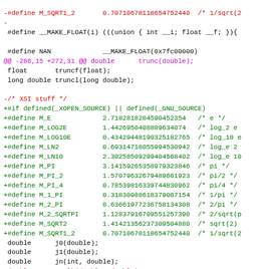[Figure (screenshot): A code diff screenshot showing C header file changes with red (removed), green (added), magenta (hunk header), and black (context) lines for math.h definitions including M_SQRT1_2, __MAKE_FLOAT, NAN, and various math constants.]